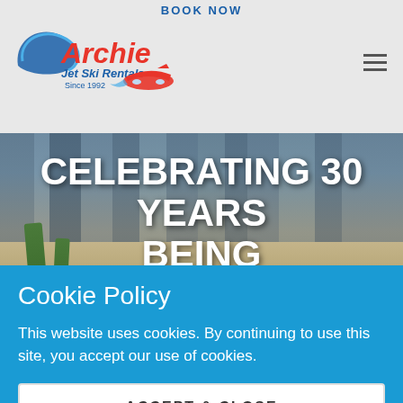BOOK NOW
[Figure (logo): Archie Jet Ski Rentals logo with wave graphic and jet ski image, Since 1992]
[Figure (photo): Beach scene with buildings, palm trees, and people. Hero overlay text: CELEBRATING 30 YEARS BEING #1 JET SKI RENTAL IN]
CELEBRATING 30 YEARS BEING
#1 JET SKI RENTAL IN
Cookie Policy
This website uses cookies. By continuing to use this site, you accept our use of cookies.
ACCEPT & CLOSE